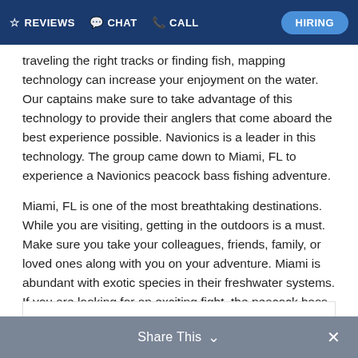REVIEWS  CHAT  CALL  HIRING
traveling the right tracks or finding fish, mapping technology can increase your enjoyment on the water. Our captains make sure to take advantage of this technology to provide their anglers that come aboard the best experience possible. Navionics is a leader in this technology. The group came down to Miami, FL to experience a Navionics peacock bass fishing adventure.
Miami, FL is one of the most breathtaking destinations. While you are visiting, getting in the outdoors is a must. Make sure you take your colleagues, friends, family, or loved ones along with you on your adventure. Miami is abundant with exotic species in their freshwater systems. If you are looking for an exciting fight, the peacock bass should be what you are after.
Share This  ×